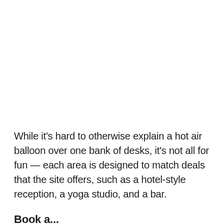While it's hard to otherwise explain a hot air balloon over one bank of desks, it's not all for fun — each area is designed to match deals that the site offers, such as a hotel-style reception, a yoga studio, and a bar.
Book a...